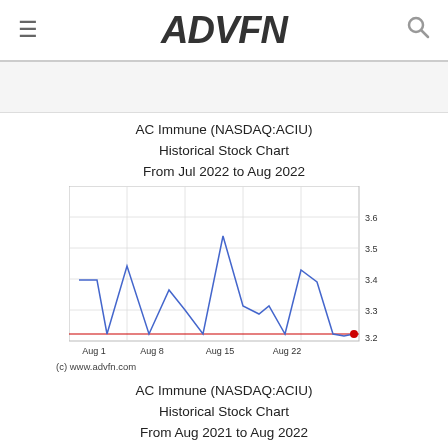ADVFN
AC Immune (NASDAQ:ACIU)
Historical Stock Chart
From Jul 2022 to Aug 2022
[Figure (line-chart): AC Immune (NASDAQ:ACIU) Historical Stock Chart From Jul 2022 to Aug 2022]
(c) www.advfn.com
AC Immune (NASDAQ:ACIU)
Historical Stock Chart
From Aug 2021 to Aug 2022